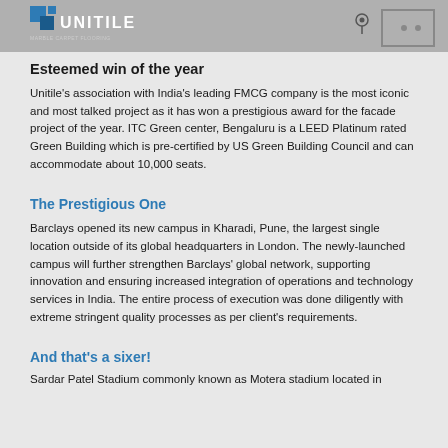Esteemed win of the year
[Figure (logo): Unitile logo with blue square icon and text UNITILE MARBLE CARPET FLOORING]
[Figure (other): Location pin icon and square icon with two dots]
Unitile's association with India's leading FMCG company is the most iconic and most talked project as it has won a prestigious award for the facade project of the year. ITC Green center, Bengaluru is a LEED Platinum rated Green Building which is pre-certified by US Green Building Council and can accommodate about 10,000 seats.
The Prestigious One
Barclays opened its new campus in Kharadi, Pune, the largest single location outside of its global headquarters in London. The newly-launched campus will further strengthen Barclays' global network, supporting innovation and ensuring increased integration of operations and technology services in India. The entire process of execution was done diligently with extreme stringent quality processes as per client's requirements.
And that's a sixer!
Sardar Patel Stadium commonly known as Motera stadium located in